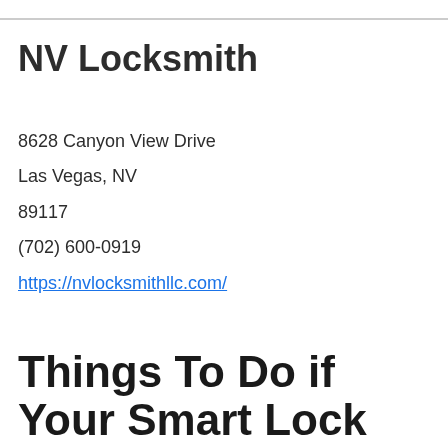NV Locksmith
8628 Canyon View Drive
Las Vegas, NV
89117
(702) 600-0919
https://nvlocksmithllc.com/
Things To Do if Your Smart Lock Battery Dies